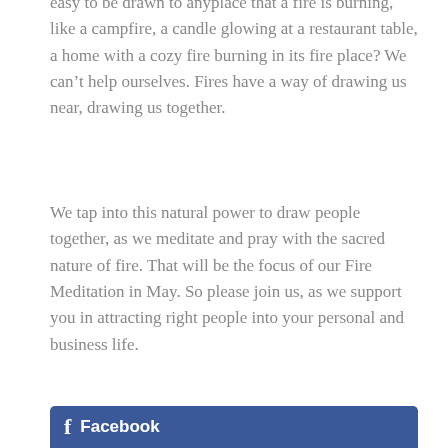easy to be drawn to anyplace that a fire is burning, like a campfire, a candle glowing at a restaurant table, a home with a cozy fire burning in its fire place? We can't help ourselves. Fires have a way of drawing us near, drawing us together.
We tap into this natural power to draw people together, as we meditate and pray with the sacred nature of fire. That will be the focus of our Fire Meditation in May. So please join us, as we support you in attracting right people into your personal and business life.
[Figure (other): Facebook button/banner with Facebook logo icon and text, dark blue background, partially visible at bottom of page]